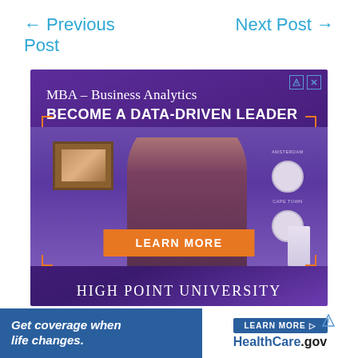← Previous Post
Next Post →
[Figure (photo): Advertisement for High Point University MBA – Business Analytics program. Purple background with a smiling woman, clocks, text 'MBA – Business Analytics BECOME A DATA-DRIVEN LEADER', orange 'LEARN MORE' button, and 'HIGH POINT UNIVERSITY' text at bottom.]
ezoic   report this ad
[Figure (photo): HealthCare.gov advertisement banner: 'Get coverage when life changes.' on blue background with 'LEARN MORE HealthCare.gov' on white background.]